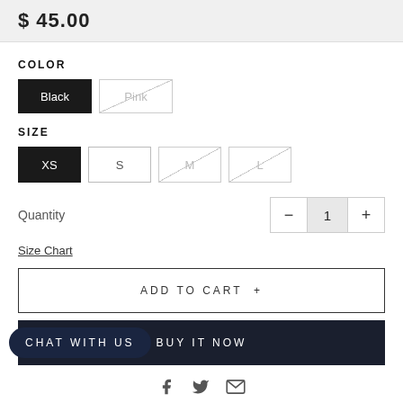$ 45.00
COLOR
Black | Pink (unavailable)
SIZE
XS | S | M (unavailable) | L (unavailable)
Quantity  1
Size Chart
ADD TO CART +
BUY IT NOW
Chat with us
[Figure (other): Social share icons: Facebook, Twitter, Email]